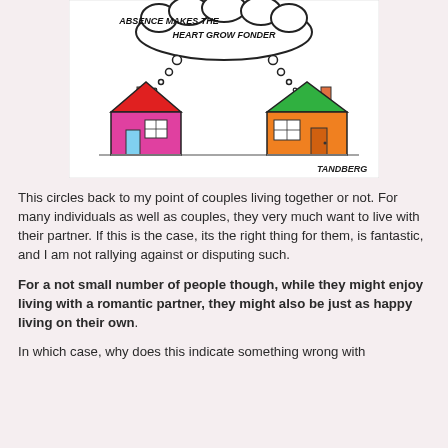[Figure (illustration): Cartoon by Tandberg showing two houses — one with red roof and pink walls, one with green roof and orange walls — with a thought bubble between them reading 'ABSENCE MAKES THE HEART GROW FONDER']
This circles back to my point of couples living together or not.  For many individuals as well as couples, they very much want to live with their partner.  If this is the case, its the right thing for them, is fantastic, and I am not rallying against or disputing such.
For a not small number of people though, while they might enjoy living with a romantic partner, they might also be just as happy living on their own.
In which case, why does this indicate something wrong with